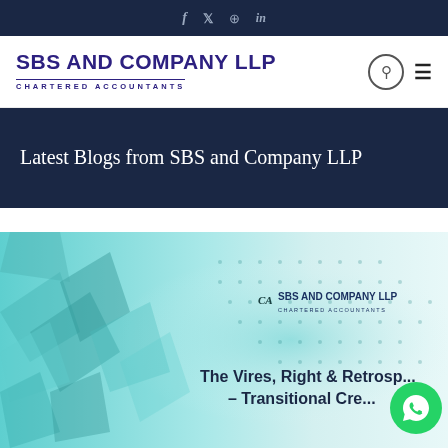f  𝕏  Pinterest  in
[Figure (logo): SBS AND COMPANY LLP Chartered Accountants logo with search and menu icons]
Latest Blogs from SBS and Company LLP
[Figure (illustration): Blog card image with teal geometric polygon background and SBS AND COMPANY LLP Chartered Accountants branding. Text reads: The Vires, Right & Retrospe... – Transitional Cre... A WhatsApp chat button overlays the bottom right.]